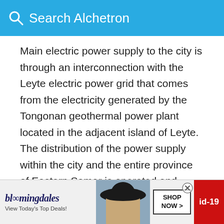Search Alchetron
Main electric power supply to the city is through an interconnection with the Leyte electric power grid that comes from the electricity generated by the Tongonan geothermal power plant located in the adjacent island of Leyte. The distribution of the power supply within the city and the entire province of Eastern Samar is operated and managed by the local electric cooperative.
Education
Borongan City has many elementary schools, high schools, colleges, and universities, it also has the highe…
[Figure (screenshot): Bloomingdale's advertisement banner at the bottom of the page showing logo, model with hat, SHOP NOW button, and id-19 badge]